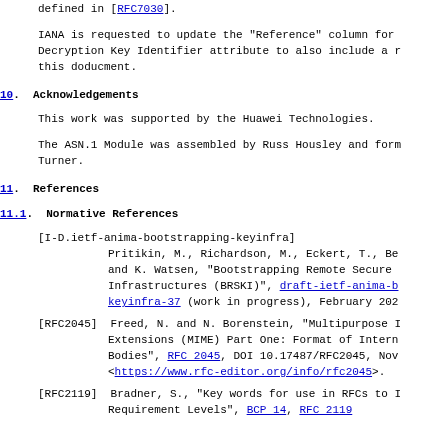defined in [RFC7030].
IANA is requested to update the "Reference" column for Decryption Key Identifier attribute to also include a reference to this doducment.
10.  Acknowledgements
This work was supported by the Huawei Technologies.
The ASN.1 Module was assembled by Russ Housley and form Turner.
11.  References
11.1.  Normative References
[I-D.ietf-anima-bootstrapping-keyinfra] Pritikin, M., Richardson, M., Eckert, T., Be and K. Watsen, "Bootstrapping Remote Secure Infrastructures (BRSKI)", draft-ietf-anima-b keyinfra-37 (work in progress), February 202
[RFC2045]  Freed, N. and N. Borenstein, "Multipurpose I Extensions (MIME) Part One: Format of Intern Bodies", RFC 2045, DOI 10.17487/RFC2045, Nov <https://www.rfc-editor.org/info/rfc2045>.
[RFC2119]  Bradner, S., "Key words for use in RFCs to I Requirement Levels", BCP 14, RFC 2119